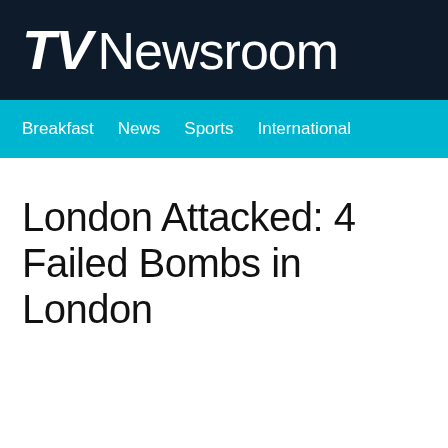TV Newsroom
Breakfast  News  Sports  International
London Attacked: 4 Failed Bombs in London